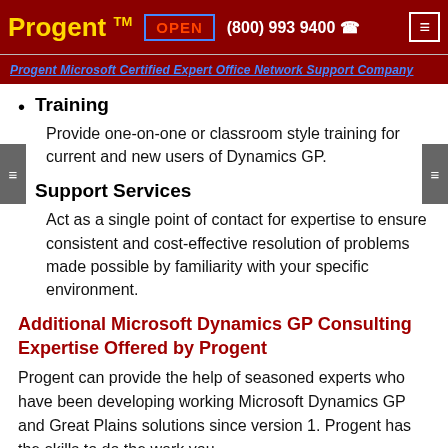Progent™  OPEN  (800) 993 9400  ☎
Progent Microsoft Certified Expert Office Network Support Company
Training — Provide one-on-one or classroom style training for current and new users of Dynamics GP.
Support Services — Act as a single point of contact for expertise to ensure consistent and cost-effective resolution of problems made possible by familiarity with your specific environment.
Additional Microsoft Dynamics GP Consulting Expertise Offered by Progent
Progent can provide the help of seasoned experts who have been developing working Microsoft Dynamics GP and Great Plains solutions since version 1. Progent has the skills to do the work you